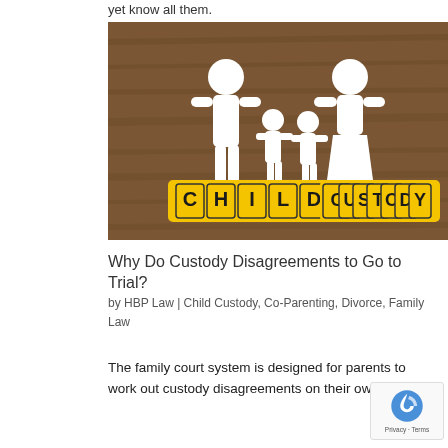yet know all them.
[Figure (photo): Photo of white paper cutout family figures (two adults and two children) holding hands, standing on yellow letter blocks spelling out 'CHILD CUSTODY' against a wooden background.]
Why Do Custody Disagreements to Go to Trial?
by HBP Law | Child Custody, Co-Parenting, Divorce, Family Law
The family court system is designed for parents to work out custody disagreements on their own. The